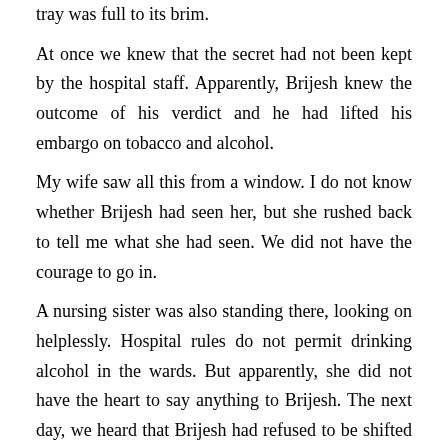tray was full to its brim.

At once we knew that the secret had not been kept by the hospital staff. Apparently, Brijesh knew the outcome of his verdict and he had lifted his embargo on tobacco and alcohol.

My wife saw all this from a window. I do not know whether Brijesh had seen her, but she rushed back to tell me what she had seen. We did not have the courage to go in.

A nursing sister was also standing there, looking on helplessly. Hospital rules do not permit drinking alcohol in the wards. But apparently, she did not have the heart to say anything to Brijesh. The next day, we heard that Brijesh had refused to be shifted to Poona or Bombay for expert treatment of cancer.